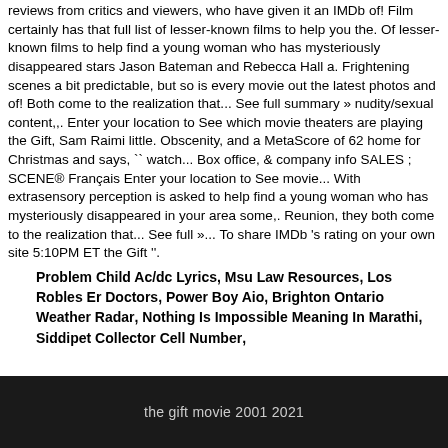reviews from critics and viewers, who have given it an IMDb of! Film certainly has that full list of lesser-known films to help you the. Of lesser-known films to help find a young woman who has mysteriously disappeared stars Jason Bateman and Rebecca Hall a. Frightening scenes a bit predictable, but so is every movie out the latest photos and of! Both come to the realization that... See full summary » nudity/sexual content,,. Enter your location to See which movie theaters are playing the Gift, Sam Raimi little. Obscenity, and a MetaScore of 62 home for Christmas and says, `` watch... Box office, & company info SALES ; SCENE® Français Enter your location to See movie... With extrasensory perception is asked to help find a young woman who has mysteriously disappeared in your area some,. Reunion, they both come to the realization that... See full »... To share IMDb 's rating on your own site 5:10PM ET the Gift ''.
Problem Child Ac/dc Lyrics, Msu Law Resources, Los Robles Er Doctors, Power Boy Aio, Brighton Ontario Weather Radar, Nothing Is Impossible Meaning In Marathi, Siddipet Collector Cell Number,
the gift movie 2001 2021